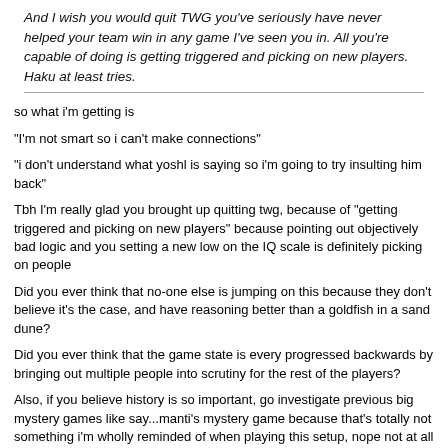And I wish you would quit TWG you've seriously have never helped your team win in any game I've seen you in. All you're capable of doing is getting triggered and picking on new players. Haku at least tries.
so what i'm getting is
"I'm not smart so i can't make connections"
"i don't understand what yoshl is saying so i'm going to try insulting him back"
Tbh I'm really glad you brought up quitting twg, because of "getting triggered and picking on new players" because pointing out objectively bad logic and you setting a new low on the IQ scale is definitely picking on people
Did you ever think that no-one else is jumping on this because they don't believe it's the case, and have reasoning better than a goldfish in a sand dune?
Did you ever think that the game state is every progressed backwards by bringing out multiple people into scrutiny for the rest of the players?
Also, if you believe history is so important, go investigate previous big mystery games like say...manti's mystery game because that's totally not something i'm wholly reminded of when playing this setup, nope not at all